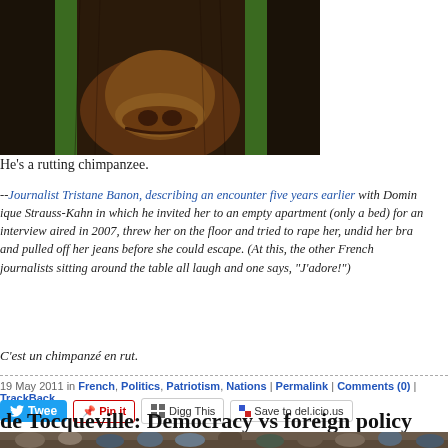[Figure (photo): Close-up photo of a chimpanzee face/snout pressed against green metal bars]
He's a rutting chimpanzee.
--Journalist Tristane Banon, describing an encounter five years earlier with Dominique Strauss-Kahn in which he invited her to an empty apartment (only a bed) for an interview aired in 2007, threw her on the floor and tried to rape her, undid her bra and pulled off her jeans before she could escape. (At this, the other French journalists sitting around the table all laugh and one says, "J'adore!")
C'est un chimpanzé en rut.
19 May 2011 in French, Politics, Patriotism, Nations | Permalink | Comments (0) | TrackBack
de Tocqueville: Democracy vs foreign policy
[Figure (photo): Crowd of people photo at the bottom of the page]